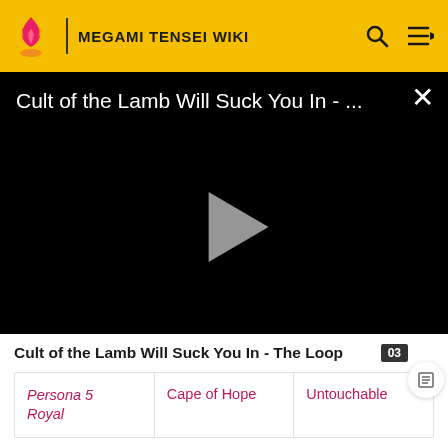MEGAMI TENSEI WIKI
[Figure (screenshot): Video player with black background showing title 'Cult of the Lamb Will Suck You In - ...' and a play button in center]
Cult of the Lamb Will Suck You In - The Loop
| Persona 5 Royal | Cape of Hope | Untouchable |
Demons